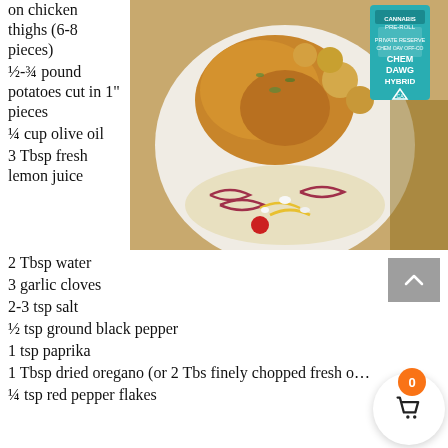[Figure (photo): A plate of roasted chicken thighs with potatoes and a Greek salad with vegetables, alongside a cannabis pre-roll product box labeled Chem Dawg Hybrid on a wooden surface.]
on chicken thighs (6-8 pieces)
½-¾ pound potatoes cut in 1" pieces
¼ cup olive oil
3 Tbsp fresh lemon juice
2 Tbsp water
3 garlic cloves
2-3 tsp salt
½ tsp ground black pepper
1 tsp paprika
1 Tbsp dried oregano (or 2 Tbs finely chopped fresh o…
¼ tsp red pepper flakes